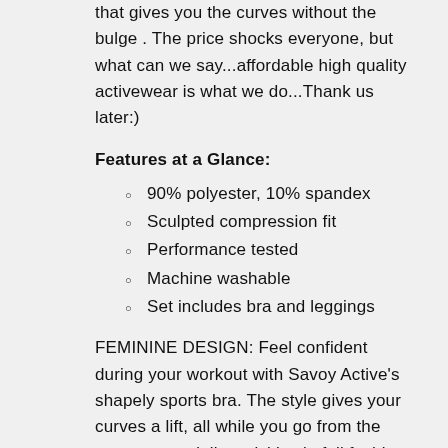that gives you the curves without the bulge . The price shocks everyone, but what can we say...affordable high quality activewear is what we do...Thank us later:)
Features at a Glance:
90% polyester, 10% spandex
Sculpted compression fit
Performance tested
Machine washable
Set includes bra and leggings
FEMININE DESIGN: Feel confident during your workout with Savoy Active's shapely sports bra. The style gives your curves a lift, all while you go from the gym to your daily activities in full fashion